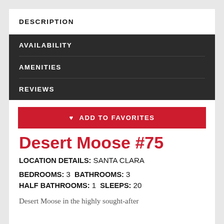DESCRIPTION
AVAILABILITY
AMENITIES
REVIEWS
♥ ADD TO FAVORITES
Desert Moose #75
LOCATION DETAILS: SANTA CLARA
BEDROOMS: 3 BATHROOMS: 3 HALF BATHROOMS: 1 SLEEPS: 20
Desert Moose in the highly sought-after